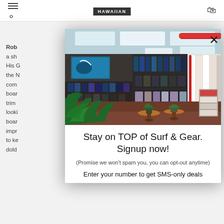HAWAIIAN [logo]
Rob
a sh
His G
the N
com
boar
trim
looki
boar
impr
to ke
dold
[Figure (photo): Interior of a surf shop showing walls lined with surf gear, accessories, leashes, fins, and surfboards. Large tropical plant in foreground, small potted plants on round tables in center, bright fluorescent ceiling lights.]
Stay on TOP of Surf & Gear. Signup now!
(Promise we won't spam you, you can opt-out anytime)
Enter your number to get SMS-only deals